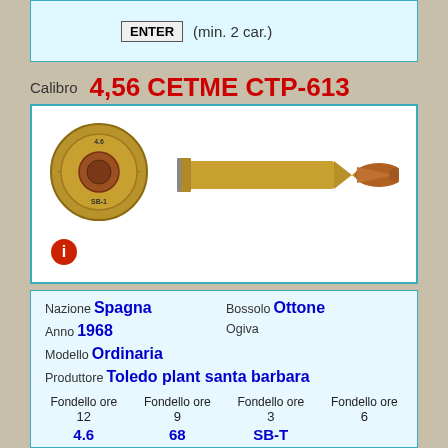ENTER (min. 2 car.)
Calibro 4,56 CETME CTP-613
[Figure (photo): Photo of a 4.56 CETME CTP-613 cartridge showing the base/headstamp view (circular, brass) on the left and a side profile of the full cartridge (brass case with copper-tipped bullet) on the right. An information icon (red circle with white 'i') is shown below the images.]
| Field | Value |
| --- | --- |
| Nazione | Spagna |
| Bossolo | Ottone |
| Anno | 1968 |
| Ogiva |  |
| Modello | Ordinaria |
| Produttore | Toledo plant santa barbara |
| Note |  |
| Fondello ore 12 | Fondello ore 9 | Fondello ore 3 | Fondello ore 6 |
| --- | --- | --- | --- |
| 4.6 | 68 | SB-T |  |